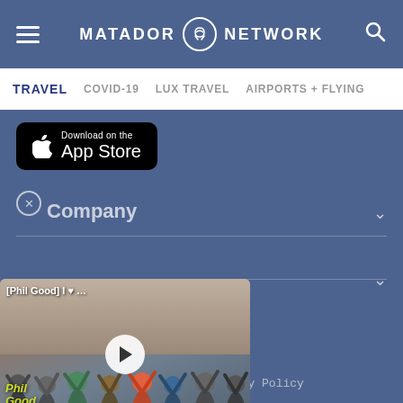MATADOR NETWORK
TRAVEL  COVID-19  LUX TRAVEL  AIRPORTS + FLYING
[Figure (screenshot): Download on the App Store button (black rounded rectangle with Apple logo)]
Company
[Figure (screenshot): Video thumbnail showing Phil Good Travel group of men at a landmark with play button overlay, label '[Phil Good] I ♥ …']
Matador Network © 2006-2022
Contact  Terms of Service  Privacy Policy